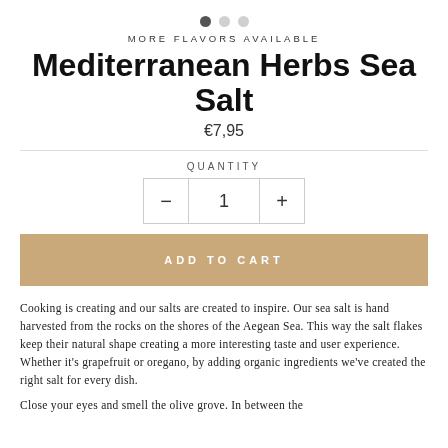[Figure (other): Three pagination dots, first one filled dark, two empty gray]
MORE FLAVORS AVAILABLE
Mediterranean Herbs Sea Salt
€7,95
QUANTITY
[Figure (other): Quantity selector with minus button, number 1, plus button]
ADD TO CART
Cooking is creating and our salts are created to inspire. Our sea salt is hand harvested from the rocks on the shores of the Aegean Sea. This way the salt flakes keep their natural shape creating a more interesting taste and user experience. Whether it's grapefruit or oregano, by adding organic ingredients we've created the right salt for every dish.
Close your eyes and smell the olive grove. In between the